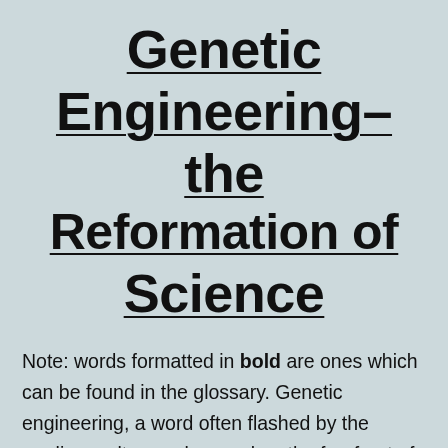Genetic Engineering– the Reformation of Science
Note: words formatted in bold are ones which can be found in the glossary. Genetic engineering, a word often flashed by the media as ultra-modern and on the forefront of breaking edge research, in fact has very